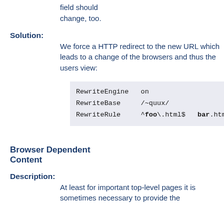field should change, too.
Solution:
We force a HTTP redirect to the new URL which leads to a change of the browsers and thus the users view:
RewriteEngine on
RewriteBase /~quux/
RewriteRule ^foo\.html$ bar.html [R]
Browser Dependent Content
Description:
At least for important top-level pages it is sometimes necessary to provide the optim of